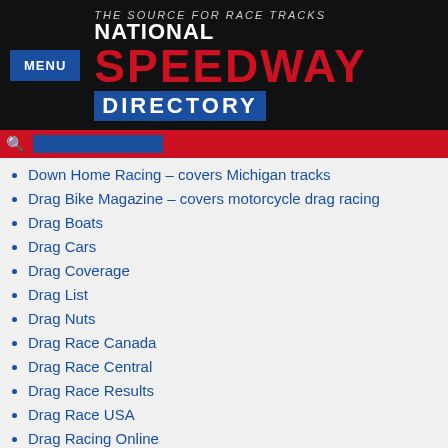[Figure (logo): National Speedway Directory logo with MENU button and search bar header]
Down Home Racing – covers Michigan tracks
Drag Bike Magazine – covers motorcycle drag racing
Drag Boats
Drag Cars
Drag Coverage
Drag List
Drag Nuts
Drag Race Canada
Drag Race Central
Drag Race Results
Drag Race USA
Drag Racing Online
Drag Times
Dwarf Car Racing
E
E Formula Car News
E Karting News
e-KMI – covers Karts